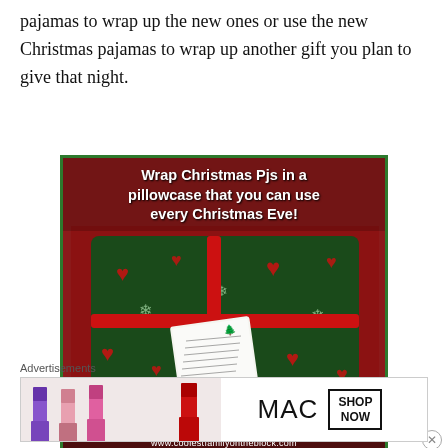pajamas to wrap up the new ones or use the new Christmas pajamas to wrap up another gift you plan to give that night.
[Figure (photo): A Christmas pillowcase with green fabric featuring red hearts and snowflakes, tied with a red ribbon, containing pajamas and a gift tag. Text overlay reads: 'Wrap Christmas Pjs in a pillowcase that you can use every Christmas Eve!' with URL www.coolestfamilyontheblock.com at the bottom.]
Advertisements
[Figure (photo): MAC Cosmetics advertisement banner showing lipsticks in purple, pink, and red colors alongside the MAC logo and a 'SHOP NOW' button.]